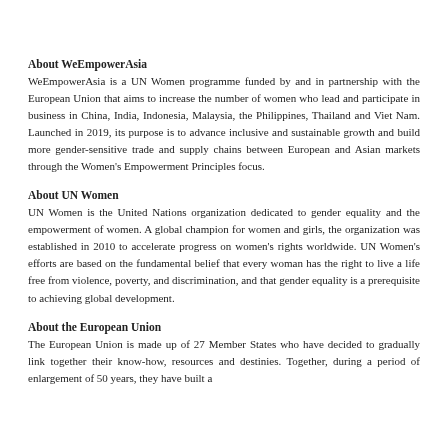About WeEmpowerAsia
WeEmpowerAsia is a UN Women programme funded by and in partnership with the European Union that aims to increase the number of women who lead and participate in business in China, India, Indonesia, Malaysia, the Philippines, Thailand and Viet Nam. Launched in 2019, its purpose is to advance inclusive and sustainable growth and build more gender-sensitive trade and supply chains between European and Asian markets through the Women's Empowerment Principles focus.
About UN Women
UN Women is the United Nations organization dedicated to gender equality and the empowerment of women. A global champion for women and girls, the organization was established in 2010 to accelerate progress on women's rights worldwide. UN Women's efforts are based on the fundamental belief that every woman has the right to live a life free from violence, poverty, and discrimination, and that gender equality is a prerequisite to achieving global development.
About the European Union
The European Union is made up of 27 Member States who have decided to gradually link together their know-how, resources and destinies. Together, during a period of enlargement of 50 years, they have built a